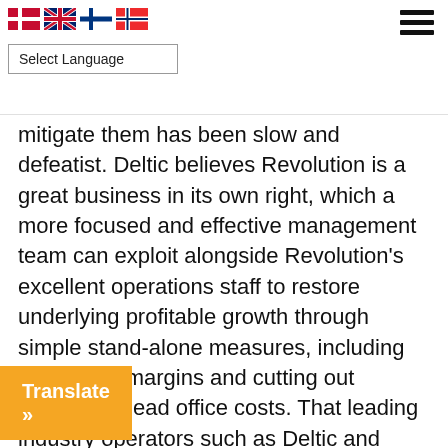Select Language [flags: Danish, British, Finnish, Norwegian] [hamburger menu]
mitigate them has been slow and defeatist. Deltic believes Revolution is a great business in its own right, which a more focused and effective management team can exploit alongside Revolution's excellent operations staff to restore underlying profitable growth through simple stand-alone measures, including enhancing margins and cutting out excessive head office costs. That leading industry operators such as Deltic and Stonegate can reach this conclusion is a poor indictment of the decision to recommend the Stonegate offer, where ostensibly returning value to shareholders is seen as the best outcome for Revolution shareholders